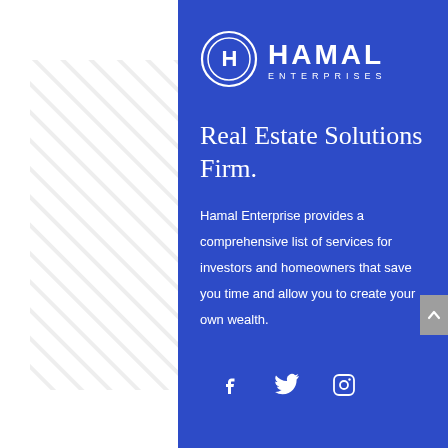[Figure (logo): Hamal Enterprises logo: circular H icon with two concentric rings, bold HAMAL text and ENTERPRISES subtitle in white on blue background]
Real Estate Solutions Firm.
Hamal Enterprise provides a comprehensive list of services for investors and homeowners that save you time and allow you to create your own wealth.
[Figure (illustration): Social media icons: Facebook (f), Twitter (bird), Instagram (camera) in white on blue background]